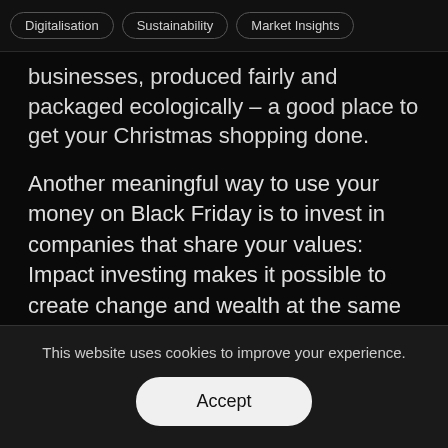Digitalisation | Sustainability | Market Insights
businesses, produced fairly and packaged ecologically – a good place to get your Christmas shopping done.
Another meaningful way to use your money on Black Friday is to invest in companies that share your values: Impact investing makes it possible to create change and wealth at the same time – which can feel just as rewarding as a
This website uses cookies to improve your experience.
Accept